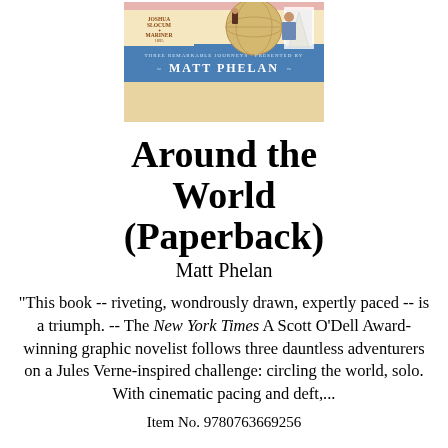[Figure (illustration): Book cover of 'Around the World' by Matt Phelan, showing three adventurers, presented as a graphic novel with colorful illustrated cover featuring Joshua Slocum Mariner 1895, and text THREE REMARKABLE JOURNEYS presented by MATT PHELAN]
Around the World (Paperback)
Matt Phelan
"This book -- riveting, wondrously drawn, expertly paced -- is a triumph. -- The New York Times A Scott O'Dell Award-winning graphic novelist follows three dauntless adventurers on a Jules Verne-inspired challenge: circling the world, solo. With cinematic pacing and deft,...
Item No. 9780763669256